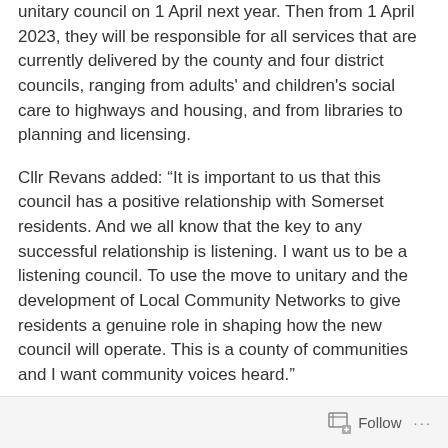unitary council on 1 April next year. Then from 1 April 2023, they will be responsible for all services that are currently delivered by the county and four district councils, ranging from adults' and children's social care to highways and housing, and from libraries to planning and licensing.
Cllr Revans added: “It is important to us that this council has a positive relationship with Somerset residents. And we all know that the key to any successful relationship is listening. I want us to be a listening council. To use the move to unitary and the development of Local Community Networks to give residents a genuine role in shaping how the new council will operate. This is a county of communities and I want community voices heard.”
Follow ···